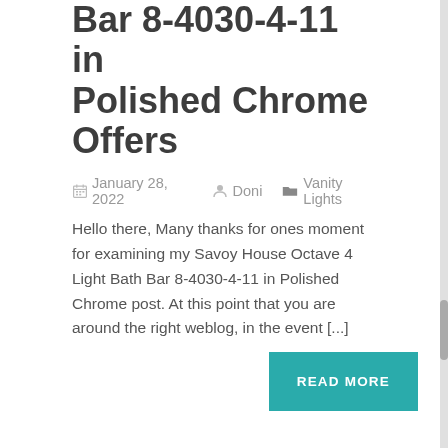Bar 8-4030-4-11 in Polished Chrome Offers
January 28, 2022  Doni  Vanity Lights
Hello there, Many thanks for ones moment for examining my Savoy House Octave 4 Light Bath Bar 8-4030-4-11 in Polished Chrome post. At this point that you are around the right weblog, in the event [...]
READ MORE
Vanity Lights – Quorum Lighting – 5108-4-64 Offers